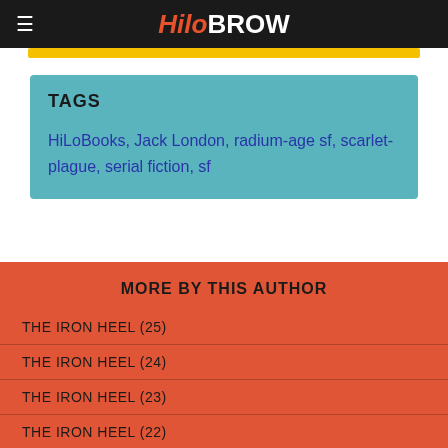HiLoBROW
TAGS
HiLoBooks, Jack London, radium-age sf, scarlet-plague, serial fiction, sf
MORE BY THIS AUTHOR
THE IRON HEEL (25)
THE IRON HEEL (24)
THE IRON HEEL (23)
THE IRON HEEL (22)
THE IRON HEEL (21)